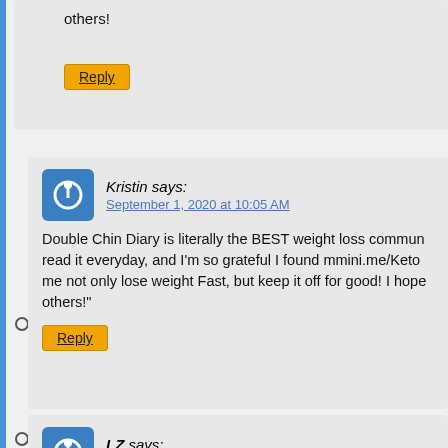others!
Reply
Kristin says:
September 1, 2020 at 10:05 AM
Double Chin Diary is literally the BEST weight loss commun... read it everyday, and I'm so grateful I found mmini.me/Keto... me not only lose weight Fast, but keep it off for good! I hope... others!"
Reply
LZ says:
October 22, 2020 at 7:42 PM